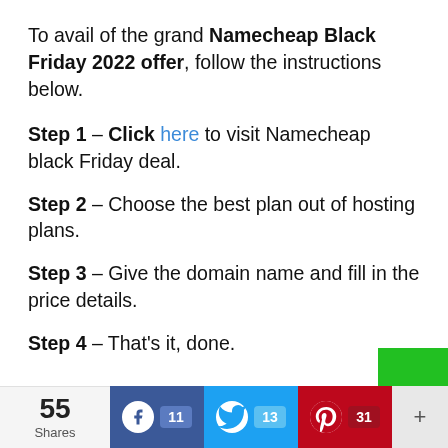To avail of the grand Namecheap Black Friday 2022 offer, follow the instructions below.
Step 1 – Click here to visit Namecheap black Friday deal.
Step 2 – Choose the best plan out of hosting plans.
Step 3 – Give the domain name and fill in the price details.
Step 4 – That's it, done.
55 Shares | Facebook 11 | Twitter 13 | Pinterest 31 | +